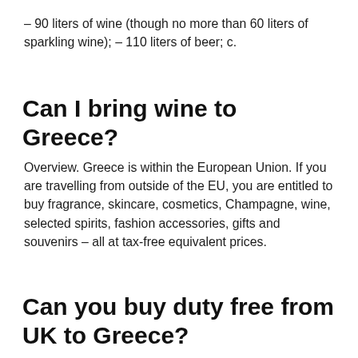– 90 liters of wine (though no more than 60 liters of sparkling wine); – 110 liters of beer; c.
Can I bring wine to Greece?
Overview. Greece is within the European Union. If you are travelling from outside of the EU, you are entitled to buy fragrance, skincare, cosmetics, Champagne, wine, selected spirits, fashion accessories, gifts and souvenirs – all at tax-free equivalent prices.
Can you buy duty free from UK to Greece?